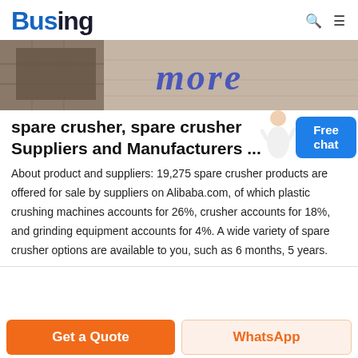Busing
[Figure (photo): Hero image showing a stone/concrete wall with blue graffiti text and a dark structural element on the left]
spare crusher, spare crusher Suppliers and Manufacturers ...
About product and suppliers: 19,275 spare crusher products are offered for sale by suppliers on Alibaba.com, of which plastic crushing machines accounts for 26%, crusher accounts for 18%, and grinding equipment accounts for 4%. A wide variety of spare crusher options are available to you, such as 6 months, 5 years.